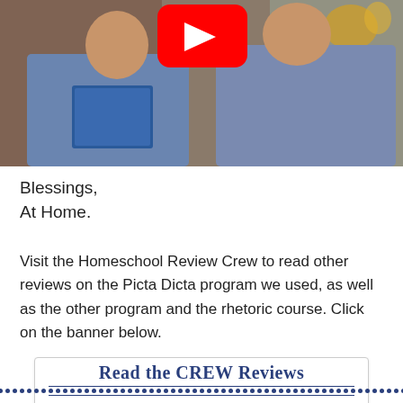[Figure (photo): Two men standing together, one holding a blue tablet/clipboard. A YouTube play button overlay is visible at the top center. Background shows a brick wall and home decor elements.]
Blessings,
At Home.
Visit the Homeschool Review Crew to read other reviews on the Picta Dicta program we used, as well as the other program and the rhetoric course. Click on the banner below.
[Figure (other): Banner reading 'Read the CREW Reviews' with a decorative dotted line and solid line border below in dark blue.]